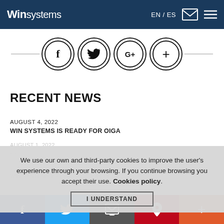Win systems | EN / ES
[Figure (other): Social media share icons in double-ring circles: Facebook (f), Twitter (bird), Google+ (G+), Add (+), connected by a horizontal line]
RECENT NEWS
AUGUST 4, 2022
WIN SYSTEMS IS READY FOR OIGA
We use our own and third-party cookies to improve the user's experience through your browsing. If you continue browsing you accept their use. Cookies policy.
f | Twitter | Email | Pinterest | +